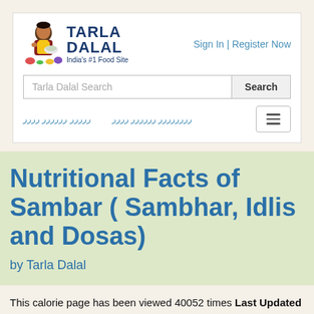[Figure (logo): Tarla Dalal logo with cartoon woman cooking, text TARLA DALAL India's #1 Food Site]
Sign In | Register Now
Tarla Dalal Search
Search
ررررر رررررر رررر
رررررررر رررررر رررر
Nutritional Facts of Sambar ( Sambhar, Idlis and Dosas)
by Tarla Dalal
This calorie page has been viewed 40052 times Last Updated : Jan 02,2020